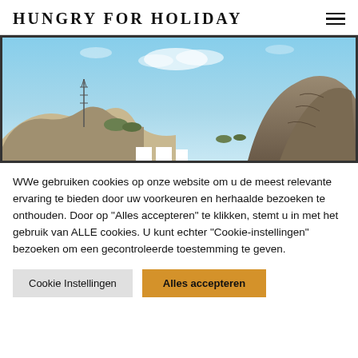HUNGRY FOR HOLIDAY
[Figure (photo): Outdoor landscape photo showing rocky hills/mountains under a blue sky with sparse clouds. A communication antenna tower is visible on the left side among sandy dunes. Rocky cliffs on the right side.]
WWe gebruiken cookies op onze website om u de meest relevante ervaring te bieden door uw voorkeuren en herhaalde bezoeken te onthouden. Door op "Alles accepteren" te klikken, stemt u in met het gebruik van ALLE cookies. U kunt echter "Cookie-instellingen" bezoeken om een gecontroleerde toestemming te geven.
Cookie Instellingen
Alles accepteren